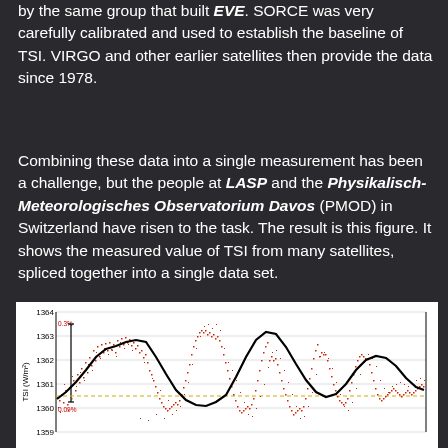instrument is the another SORCE that is operated by the same group that built EVE. SORCE was very carefully calibrated and used to establish the baseline of TSI. VIRGO and other earlier satellites then provide the data since 1978.
Combining these data into a single measurement has been a challenge, but the people at LASP and the Physikalisch-Meteorologisches Observatorium Davos (PMOD) in Switzerland have risen to the task. The result is this figure. It shows the measured value of TSI from many satellites, spliced together into a single data set.
[Figure (continuous-plot): Time series plot of Total Solar Irradiance (TSI) in W/m^2 from multiple satellites spliced together. Y-axis ranges from 1359 to 1364 W/m^2. Red scatter points show raw measurements, black curve shows smoothed trend. A yellow horizontal dashed line near 1360.5 is visible. Two small labels: '0.3%' near top-left and '0.09%' near left side lower area. The data shows oscillating patterns (solar cycles) with peaks around 1362-1363 W/m^2 and troughs around 1360 W/m^2.]